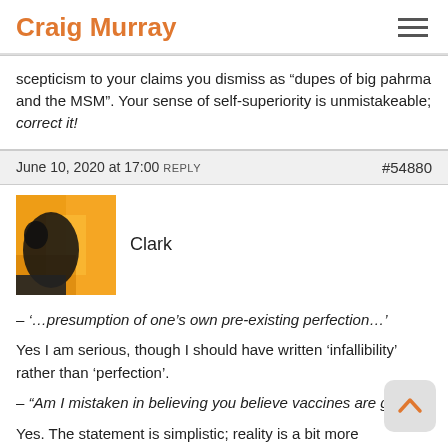Craig Murray
scepticism to your claims you dismiss as “dupes of big pahrma and the MSM”. Your sense of self-superiority is unmistakeable; correct it!
June 10, 2020 at 17:00 REPLY   #54880
Clark
[Figure (photo): User avatar image showing a silhouette against an orange/yellow background]
– ‘…presumption of one’s own pre-existing perfection…’
Yes I am serious, though I should have written ‘infallibility’ rather than ‘perfection’.
– “Am I mistaken in believing you believe vaccines are good?”
Yes. The statement is simplistic; reality is a bit more complicated than that. There is an entire territory between “vaccines are good”